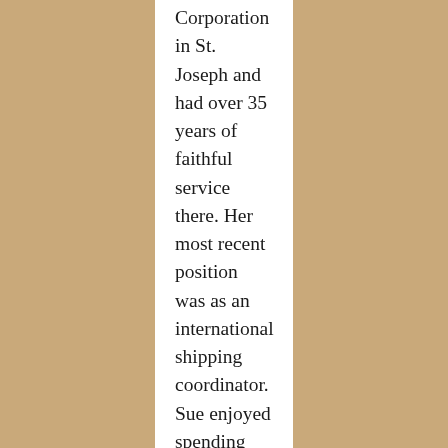Corporation in St. Joseph and had over 35 years of faithful service there. Her most recent position was as an international shipping coordinator. Sue enjoyed spending her free time at home. She loved books and spent many hours reading anything from mysteries to romance novels. Family and friends were also an important aspect of her life. In 2004 Sue took her nephew Kyle in and treated him as her own son. She loved her nieces and nephews and treated her nephew's children as her own grandchildren.
Sue is survived by her sister Arniece (Alan) Wagner of Eau Claire; Kyle Gast of Watervliet; and several nieces and nephews. She was preceded in death by her parents and her brother William “Butch”